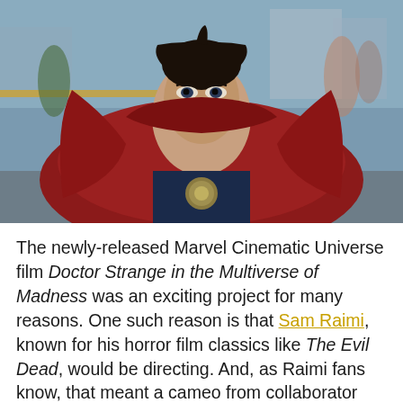[Figure (photo): Benedict Cumberbatch as Doctor Strange in costume with red cape and Eye of Agamotto medallion, looking intensely at camera, blurred city street background]
The newly-released Marvel Cinematic Universe film Doctor Strange in the Multiverse of Madness was an exciting project for many reasons. One such reason is that Sam Raimi, known for his horror film classics like The Evil Dead, would be directing. And, as Raimi fans know, that meant a cameo from collaborator